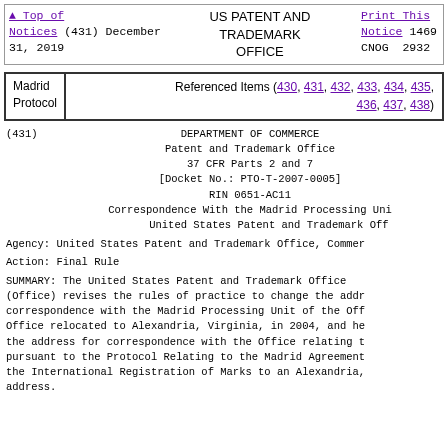Top of Notices (431) December 31, 2019 | US PATENT AND TRADEMARK OFFICE | Print This Notice 1469 CNOG 2932
| Madrid Protocol | Referenced Items |
| --- | --- |
| Madrid Protocol | Referenced Items (430, 431, 432, 433, 434, 435, 436, 437, 438) |
(431)   DEPARTMENT OF COMMERCE
Patent and Trademark Office
37 CFR Parts 2 and 7
[Docket No.: PTO-T-2007-0005]
RIN 0651-AC11
Correspondence With the Madrid Processing Unit of the United States Patent and Trademark Office
Agency: United States Patent and Trademark Office, Commerce
Action: Final Rule
SUMMARY: The United States Patent and Trademark Office (Office) revises the rules of practice to change the address for correspondence with the Madrid Processing Unit of the Office. The Office relocated to Alexandria, Virginia, in 2004, and hereby updates the address for correspondence with the Office relating to marks filed pursuant to the Protocol Relating to the Madrid Agreement Concerning the International Registration of Marks to an Alexandria, Virginia address.